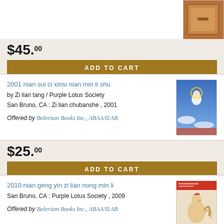[Figure (photo): Brown wooden book or box cover image in top right corner]
$45.00
ADD TO CART
2001 nian sui ci xinsi nian min li shu
by Zi lian tang / Purple Lotus Society
San Bruno, CA : Zi lian chubanshe , 2001
Offered by Bolerium Books Inc., ABAA/ILAB
[Figure (photo): Book cover showing a figure in white robes on blue sky background]
$25.00
ADD TO CART
2010 nian geng yin zi lian nong min li
San Bruno, CA : Purple Lotus Society , 2009
Offered by Bolerium Books Inc., ABAA/ILAB
[Figure (photo): Book cover with rooster figure and Chinese text on beige background]